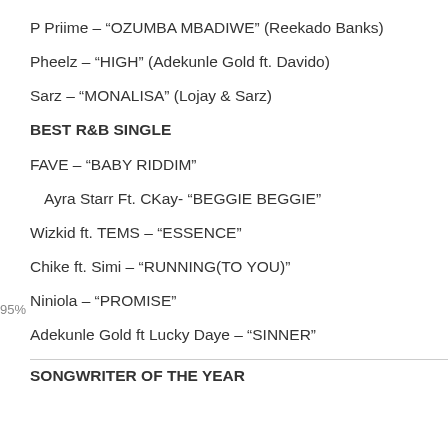P Priime – “OZUMBA MBADIWE” (Reekado Banks)
Pheelz – “HIGH” (Adekunle Gold ft. Davido)
Sarz – “MONALISA” (Lojay & Sarz)
BEST R&B SINGLE
FAVE – “BABY RIDDIM”
Ayra Starr Ft. CKay- “BEGGIE BEGGIE”
Wizkid ft. TEMS – “ESSENCE”
Chike ft. Simi – “RUNNING(TO YOU)”
Niniola – “PROMISE”
Adekunle Gold ft Lucky Daye – “SINNER”
SONGWRITER OF THE YEAR